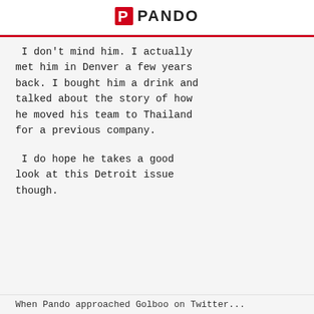PANDO
I don't mind him. I actually met him in Denver a few years back. I bought him a drink and talked about the story of how he moved his team to Thailand for a previous company.

I do hope he takes a good look at this Detroit issue though.
When Pando approached Golboo on Twitter...